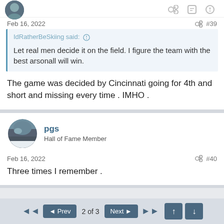[top strip with avatar and icons]
Feb 16, 2022  #39
IdRatherBeSkiing said: Let real men decide it on the field. I figure the team with the best arsonall will win.
The game was decided by Cincinnati going for 4th and short and missing every time . IMHO .
pgs
Hall of Fame Member
Feb 16, 2022  #40
Three times I remember .
◄◄  ◄ Prev  2 of 3  Next ►  ►► ↑ ↓